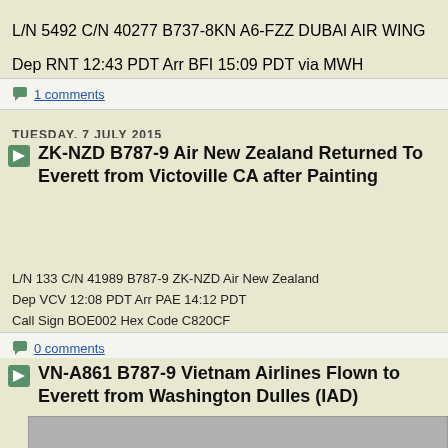L/N 5492 C/N 40277 B737-8KN A6-FZZ DUBAI AIR WING
Dep RNT 12:43 PDT Arr BFI 15:09 PDT via MWH
Call Sign BOE43 Hex Code 896430
1 comments
TUESDAY, 7 JULY 2015
ZK-NZD B787-9 Air New Zealand Returned To Everett from Victoville CA after Painting
L/N 133 C/N 41989 B787-9 ZK-NZD Air New Zealand
Dep VCV 12:08 PDT Arr PAE 14:12 PDT
Call Sign BOE002 Hex Code C820CF
0 comments
VN-A861 B787-9 Vietnam Airlines Flown to Everett from Washington Dulles (IAD)
[Figure (photo): Gray placeholder photo of an aircraft]